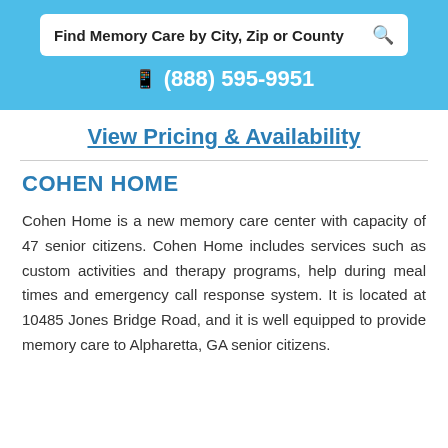Find Memory Care by City, Zip or County
(888) 595-9951
View Pricing & Availability
COHEN HOME
Cohen Home is a new memory care center with capacity of 47 senior citizens. Cohen Home includes services such as custom activities and therapy programs, help during meal times and emergency call response system. It is located at 10485 Jones Bridge Road, and it is well equipped to provide memory care to Alpharetta, GA senior citizens.